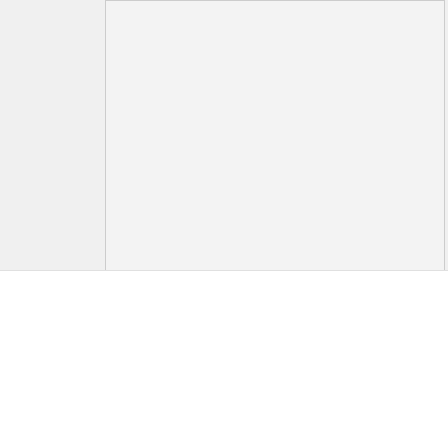[Figure (photo): First image placeholder box, light gray background with border]
Edinburgh. 1917
[Figure (photo): Second image placeholder box with broken image icon, light gray background with border]
We use cookies on our website to give you the most relevant experience by remembering your preferences and repeat visits. By clicking “Accept”, you consent to the use of ALL the cookies.
Cookie settings
ACCEPT